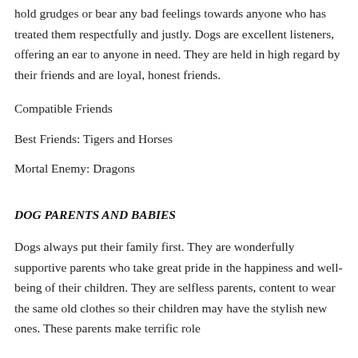hold grudges or bear any bad feelings towards anyone who has treated them respectfully and justly. Dogs are excellent listeners, offering an ear to anyone in need. They are held in high regard by their friends and are loyal, honest friends.
Compatible Friends
Best Friends: Tigers and Horses
Mortal Enemy: Dragons
DOG PARENTS AND BABIES
Dogs always put their family first. They are wonderfully supportive parents who take great pride in the happiness and well-being of their children. They are selfless parents, content to wear the same old clothes so their children may have the stylish new ones. These parents make terrific role...